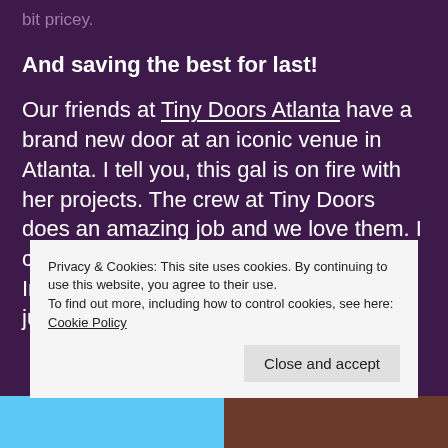bit pricey.
And saving the best for last!
Our friends at Tiny Doors Atlanta have a brand new door at an iconic venue in Atlanta. I tell you, this gal is on fire with her projects. The crew at Tiny Doors does an amazing job and we love them. I can't wait to stop by and see it in person. Ironically, we actually drove by the Fox just a week ago! Congrats TD!
Privacy & Cookies: This site uses cookies. By continuing to use this website, you agree to their use.
To find out more, including how to control cookies, see here: Cookie Policy
Close and accept